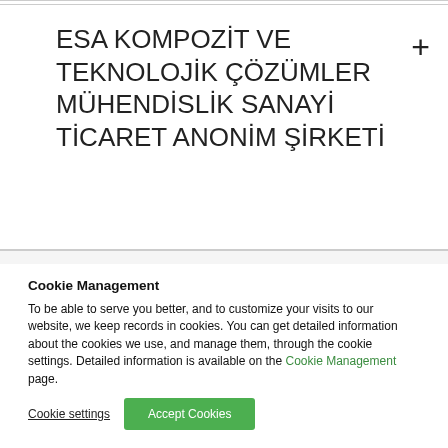ESA KOMPOZİT VE TEKNOLOJİK ÇÖZÜMLER MÜHENDİSLİK SANAYİ TİCARET ANONİM ŞİRKETİ
Cookie Management
To be able to serve you better, and to customize your visits to our website, we keep records in cookies. You can get detailed information about the cookies we use, and manage them, through the cookie settings. Detailed information is available on the Cookie Management page.
Cookie settings   Accept Cookies